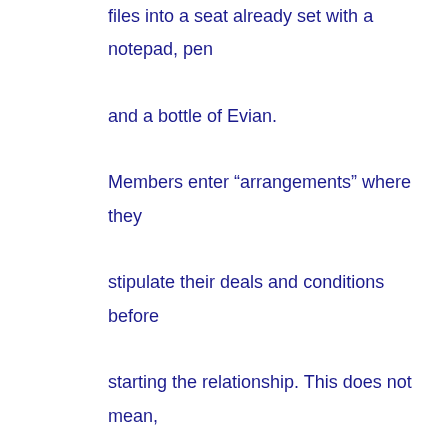files into a seat already set with a notepad, pen and a bottle of Evian.

Members enter “arrangements” where they stipulate their deals and conditions before starting the relationship. This does not mean, however, that sugar babies are paid only to provide sexual pleasure. The app does not differ that much from the desktop version.

This VIP feature is offered to a member who has met certain criteria. He/She should have been a premium member for at least two months, and he/she should have passed the background